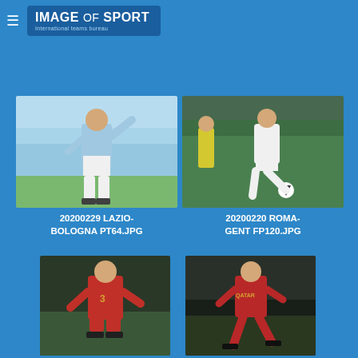IMAGE of SPORT - International teams bureau
[Figure (photo): Soccer player in light blue and white Lazio kit waving hand on field]
20200229 LAZIO-BOLOGNA PT64.JPG
[Figure (photo): Soccer player in white kit dribbling ball on green field, Roma-Gent match]
20200220 ROMA-GENT FP120.JPG
[Figure (photo): Roma player in red kit crouching low on field]
[Figure (photo): Roma player in red kit running on field]